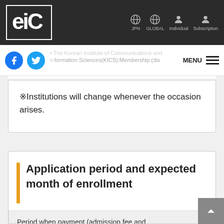EIC — JPN GLOBAL Individual Subscription navigation bar
The Korean Institute of Communications and Information Sciences(KICS):Membership (discount) will be discounted for KICS members.
※Institutions will change whenever the occasion arises.
Application period and expected month of enrollment
Period when payment (admission fee and enrollment in the first fiscal year)